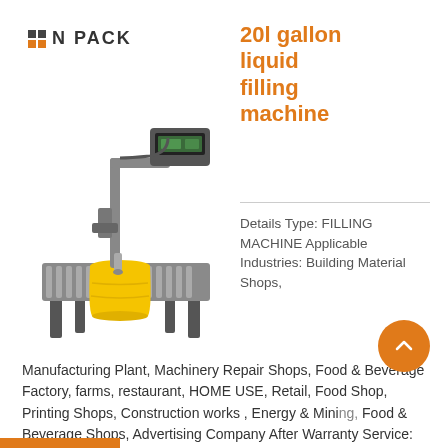N PACK
20l gallon liquid filling machine
[Figure (photo): Industrial 20-gallon liquid filling machine on a roller conveyor table with a yellow bucket/container being filled, digital display on top arm.]
Details Type: FILLING MACHINE Applicable Industries: Building Material Shops,
Manufacturing Plant, Machinery Repair Shops, Food & Beverage Factory, farms, restaurant, HOME USE, Retail, Food Shop, Printing Shops, Construction works , Energy & Mining, Food & Beverage Shops, Advertising Company After Warranty Service: Video technical support, Online support, Spare parts, Field maintenance and repair service Local Service Location: United States Showroom ...